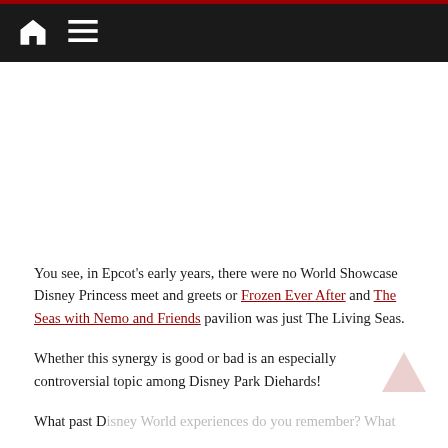Navigation bar with home icon and menu icon
[Figure (other): Advertisement or image placeholder area (white/blank)]
You see, in Epcot's early years, there were no World Showcase Disney Princess meet and greets or Frozen Ever After and The Seas with Nemo and Friends pavilion was just The Living Seas.
Whether this synergy is good or bad is an especially controversial topic among Disney Park Diehards!
What past Disney World experiences do you remember? What